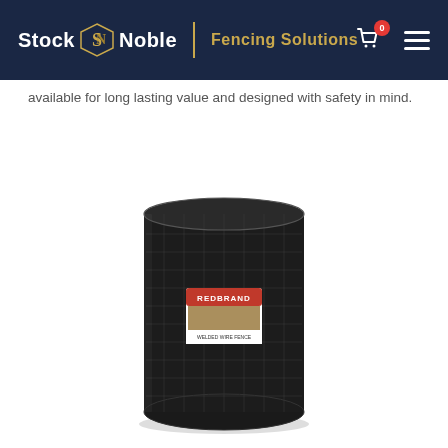Stock Noble | Fencing Solutions
available for long lasting value and designed with safety in mind.
[Figure (photo): A roll of black wire fencing (welded wire mesh) with a red Redbrand label on the front, standing upright on a white background.]